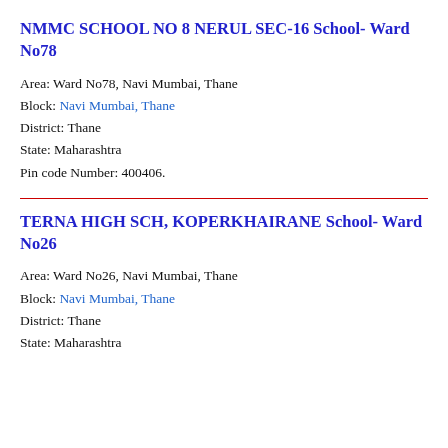NMMC SCHOOL NO 8 NERUL SEC-16 School- Ward No78
Area: Ward No78, Navi Mumbai, Thane
Block: Navi Mumbai, Thane
District: Thane
State: Maharashtra
Pin code Number: 400406.
TERNA HIGH SCH, KOPERKHAIRANE School- Ward No26
Area: Ward No26, Navi Mumbai, Thane
Block: Navi Mumbai, Thane
District: Thane
State: Maharashtra